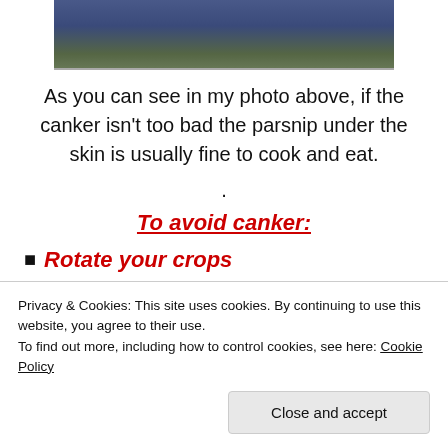[Figure (photo): Partial photo showing a person in a blue top, cropped at top and bottom edges]
As you can see in my photo above, if the canker isn't too bad the parsnip under the skin is usually fine to cook and eat.
.
To avoid canker:
Rotate your crops
Do it...
Privacy & Cookies: This site uses cookies. By continuing to use this website, you agree to their use. To find out more, including how to control cookies, see here: Cookie Policy
Close and accept